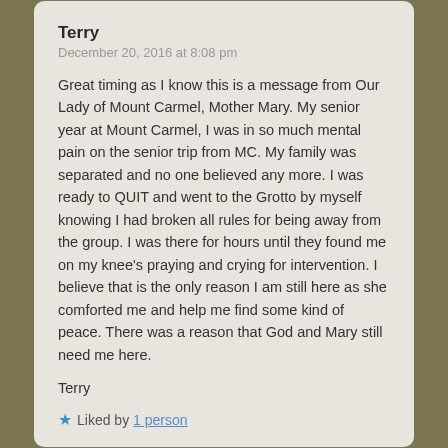Terry
December 20, 2016 at 8:08 pm
Great timing as I know this is a message from Our Lady of Mount Carmel, Mother Mary. My senior year at Mount Carmel, I was in so much mental pain on the senior trip from MC. My family was separated and no one believed any more. I was ready to QUIT and went to the Grotto by myself knowing I had broken all rules for being away from the group. I was there for hours until they found me on my knee's praying and crying for intervention. I believe that is the only reason I am still here as she comforted me and help me find some kind of peace. There was a reason that God and Mary still need me here.
Terry
Liked by 1 person